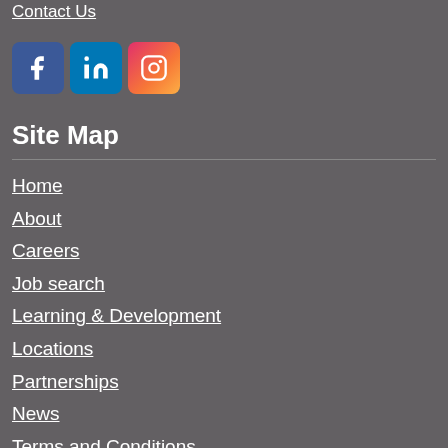Contact Us
[Figure (illustration): Three social media icons: Facebook (blue), LinkedIn (blue), Instagram (orange gradient)]
Site Map
Home
About
Careers
Job search
Learning & Development
Locations
Partnerships
News
Terms and Conditions